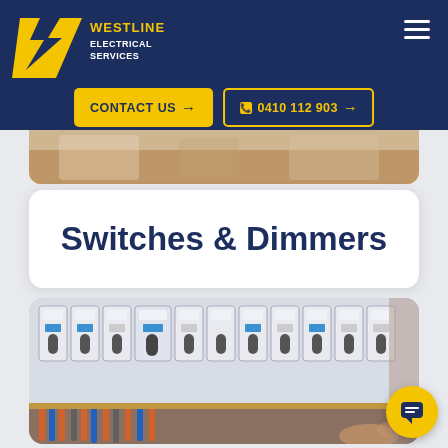[Figure (logo): Westline Electrical Services logo with yellow lightning bolt W and text]
[Figure (photo): Partial photo of circuit breakers/electrical panel at top, cropped]
Switches & Dimmers
[Figure (photo): Close-up photo of electrical circuit breakers/switches panel with a hand visible at bottom right]
[Figure (other): Yellow circular chat/message FAB button in bottom right corner]